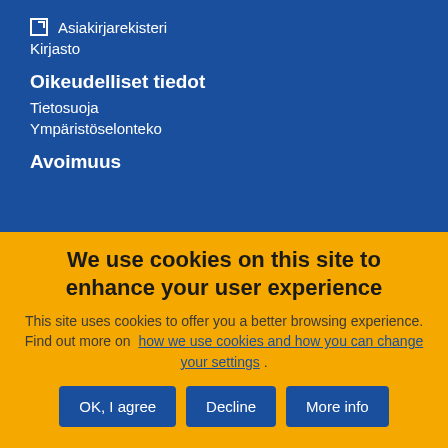Asiakirjarekisteri
Kirjasto
Oikeudelliset tiedot
Tietosuoja
Ympäristöselonteko
Avoimuus
We use cookies on this site to enhance your user experience
This site uses cookies to offer you a better browsing experience. Find out more on how we use cookies and how you can change your settings .